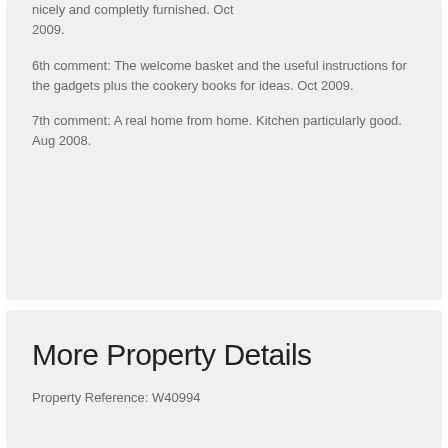nicely and completly furnished. Oct 2009.
6th comment: The welcome basket and the useful instructions for the gadgets plus the cookery books for ideas. Oct 2009.
7th comment: A real home from home. Kitchen particularly good. Aug 2008.
More Property Details
Property Reference: W40994